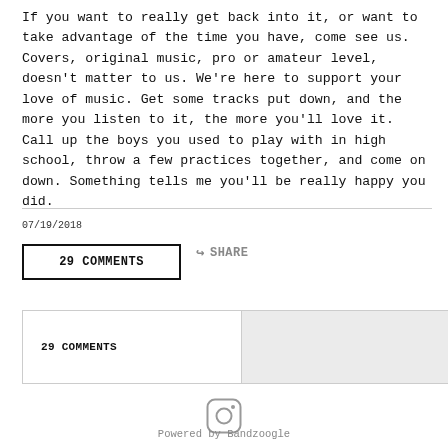If you want to really get back into it, or want to take advantage of the time you have, come see us. Covers, original music, pro or amateur level, doesn't matter to us. We're here to support your love of music. Get some tracks put down, and the more you listen to it, the more you'll love it. Call up the boys you used to play with in high school, throw a few practices together, and come on down. Something tells me you'll be really happy you did.
07/19/2018
29 COMMENTS
SHARE
29 COMMENTS
[Figure (logo): Instagram icon - rounded square with circle inside]
Powered by Bandzoogle